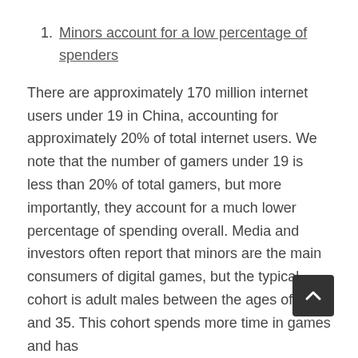Minors account for a low percentage of spenders
There are approximately 170 million internet users under 19 in China, accounting for approximately 20% of total internet users. We note that the number of gamers under 19 is less than 20% of total gamers, but more importantly, they account for a much lower percentage of spending overall. Media and investors often report that minors are the main consumers of digital games, but the typical cohort is adult males between the ages of 18 and 35. This cohort spends more time in games and has